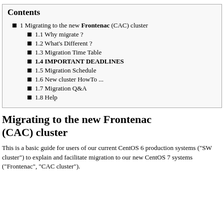Contents
1 Migrating to the new Frontenac (CAC) cluster
1.1 Why migrate ?
1.2 What's Different ?
1.3 Migration Time Table
1.4 IMPORTANT DEADLINES
1.5 Migration Schedule
1.6 New cluster HowTo ...
1.7 Migration Q&A
1.8 Help
Migrating to the new Frontenac (CAC) cluster
This is a basic guide for users of our current CentOS 6 production systems ("SW cluster") to explain and facilitate migration to our new CentOS 7 systems ("Frontenac", "CAC cluster").